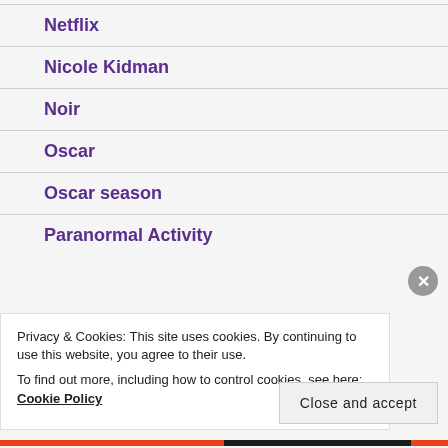Netflix
Nicole Kidman
Noir
Oscar
Oscar season
Paranormal Activity
Privacy & Cookies: This site uses cookies. By continuing to use this website, you agree to their use. To find out more, including how to control cookies, see here: Cookie Policy
Close and accept